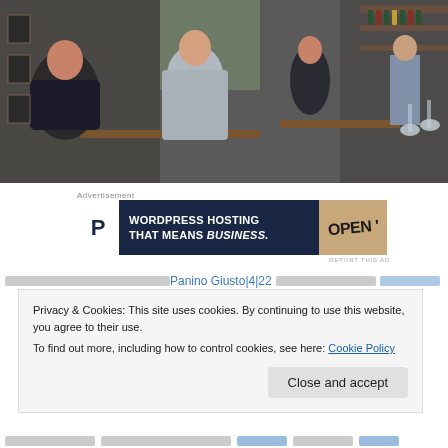[Figure (photo): Restaurant interior with business people dining at wooden tables. A man in a grey suit is in the foreground talking with a woman. Bar shelves with bottles visible in the background.]
Advertisement
[Figure (other): Advertisement banner for WordPress hosting: 'WORDPRESS HOSTING THAT MEANS BUSINESS.' with a P logo on left and an OPEN sign on right, dark navy background.]
REPORT THIS AD
Panino Giusto 4|22
Privacy & Cookies: This site uses cookies. By continuing to use this website, you agree to their use.
To find out more, including how to control cookies, see here: Cookie Policy
Close and accept